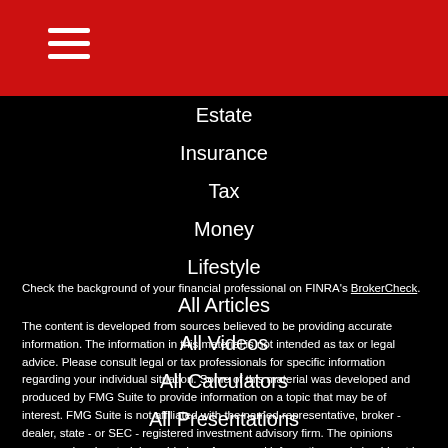Navigation menu header with hamburger icon
Estate
Insurance
Tax
Money
Lifestyle
All Articles
All Videos
All Calculators
All Presentations
Check the background of your financial professional on FINRA's BrokerCheck.
The content is developed from sources believed to be providing accurate information. The information in this material is not intended as tax or legal advice. Please consult legal or tax professionals for specific information regarding your individual situation. Some of this material was developed and produced by FMG Suite to provide information on a topic that may be of interest. FMG Suite is not affiliated with the named representative, broker - dealer, state - or SEC - registered investment advisory firm. The opinions expressed and material provided are for general information, and should not be considered a solicitation for the purchase or sale of any security.